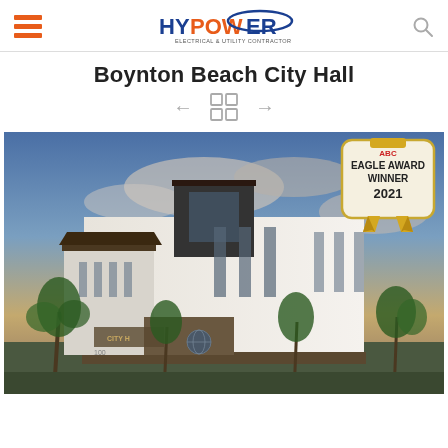HyPower - Electrical & Utility Contractor
Boynton Beach City Hall
[Figure (photo): Boynton Beach City Hall building exterior with palm trees against a dramatic cloudy sky at dusk. An ABC Eagle Award Winner 2021 badge is overlaid in the top right corner.]